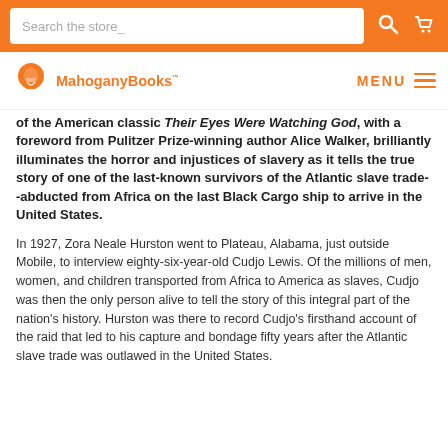Search the store
[Figure (logo): MahoganyBooks logo with orange icon and orange text, MENU hamburger on right]
of the American classic Their Eyes Were Watching God, with a foreword from Pulitzer Prize-winning author Alice Walker, brilliantly illuminates the horror and injustices of slavery as it tells the true story of one of the last-known survivors of the Atlantic slave trade--abducted from Africa on the last Black Cargo ship to arrive in the United States.
In 1927, Zora Neale Hurston went to Plateau, Alabama, just outside Mobile, to interview eighty-six-year-old Cudjo Lewis. Of the millions of men, women, and children transported from Africa to America as slaves, Cudjo was then the only person alive to tell the story of this integral part of the nation's history. Hurston was there to record Cudjo's firsthand account of the raid that led to his capture and bondage fifty years after the Atlantic slave trade was outlawed in the United States.